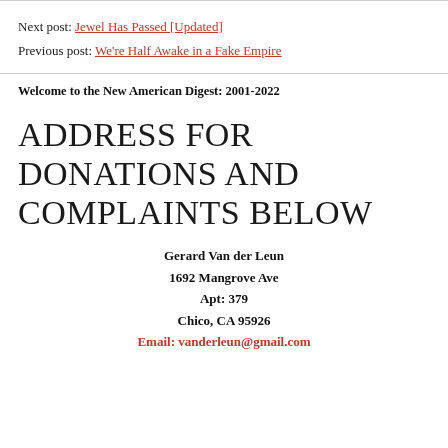Next post: Jewel Has Passed [Updated]
Previous post: We're Half Awake in a Fake Empire
Welcome to the New American Digest: 2001-2022
ADDRESS FOR DONATIONS AND COMPLAINTS BELOW
Gerard Van der Leun
1692 Mangrove Ave
Apt: 379
Chico, CA 95926
Email: vanderleun@gmail.com